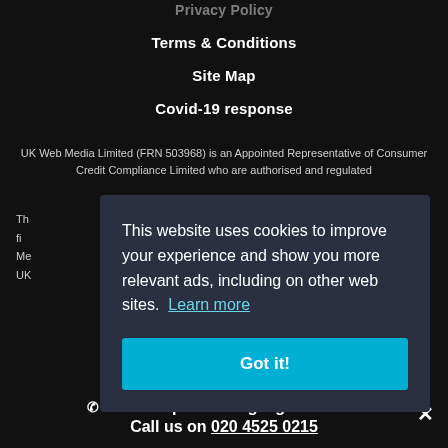Terms & Conditions
Site Map
Covid-19 response
UK Web Media Limited (FRN 503968) is an Appointed Representative of Consumer Credit Compliance Limited who are authorised and regulated
Th fi Mec UK
[Figure (screenshot): Cookie consent banner overlay with text: 'This website uses cookies to improve your experience and show you more relevant ads, including on other web sites. Learn more' and a teal 'Got it!' button.]
Need help choosing a great deal? Call us on 020 4525 0215